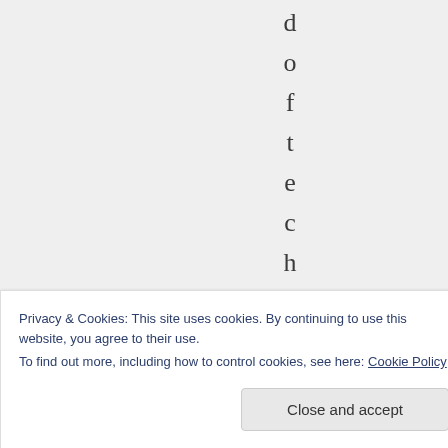d o f t e c h n o l o g
Privacy & Cookies: This site uses cookies. By continuing to use this website, you agree to their use.
To find out more, including how to control cookies, see here: Cookie Policy
Close and accept